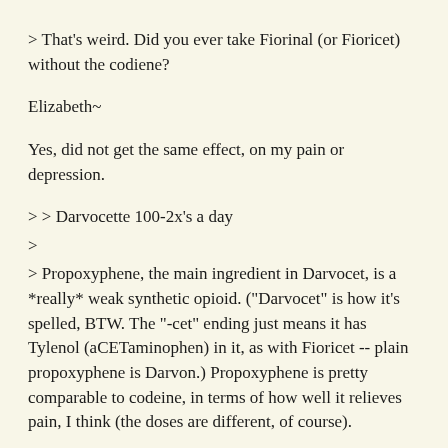> That's weird. Did you ever take Fiorinal (or Fioricet) without the codiene?
Elizabeth~
Yes, did not get the same effect, on my pain or depression.
> > Darvocette 100-2x's a day
>
> Propoxyphene, the main ingredient in Darvocet, is a *really* weak synthetic opioid. ("Darvocet" is how it's spelled, BTW. The "-cet" ending just means it has Tylenol (aCETaminophen) in it, as with Fioricet -- plain propoxyphene is Darvon.) Propoxyphene is pretty comparable to codeine, in terms of how well it relieves pain, I think (the doses are different, of course).
Propoxyphene napsylate is the main ingredient in Darvocet. (Thanks for the spelling lesson) and propoxyphene hydrochloride is the main ingredient in Darvon. Altho, there is Darvon-N, which is actually